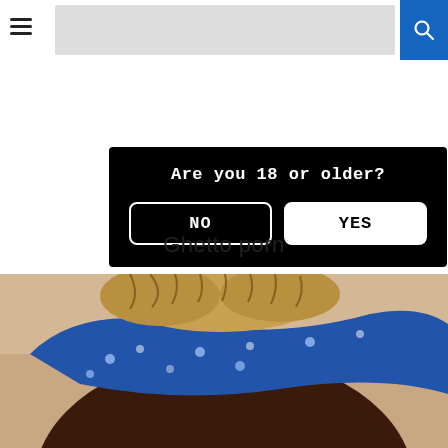≡  [logo/search bar]  🔍
[Figure (screenshot): Age verification dialog on black background with text 'Are you 18 or older?' and two buttons: NO and YES]
Ghetto porn
[Figure (photo): Video thumbnail showing a person from behind, partially clothed in a blue floral garment, with a '5 min' duration badge in the top right corner]